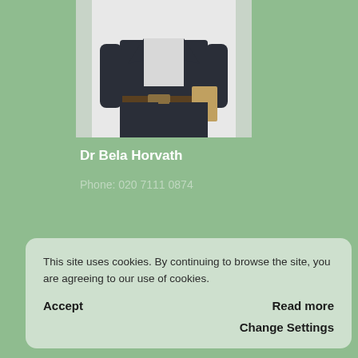[Figure (photo): Photo of a person in a dark suit holding something, cropped to show torso and lower body]
Dr Bela Horvath
Phone: 020 7111 0874
CV
This site uses cookies. By continuing to browse the site, you are agreeing to our use of cookies.
Accept
Read more
Change Settings